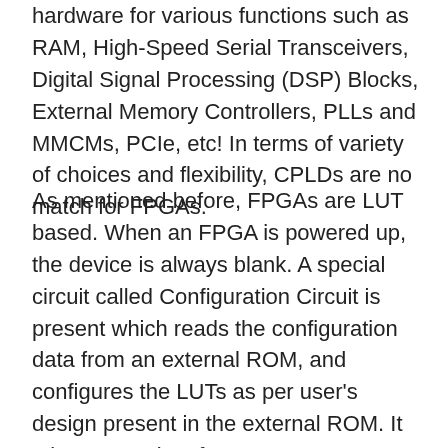hardware for various functions such as RAM, High-Speed Serial Transceivers, Digital Signal Processing (DSP) Blocks, External Memory Controllers, PLLs and MMCMs, PCIe, etc! In terms of variety of choices and flexibility, CPLDs are no match for FPGAs.
As mentioned before, FPGAs are LUT based. When an FPGA is powered up, the device is always blank. A special circuit called Configuration Circuit is present which reads the configuration data from an external ROM, and configures the LUTs as per user's design present in the external ROM. It takes some time for FPGA to get configured and the FPGA will start functioning only after configuration loading is complete. There certainly are exceptions to this. Some manufacturers have come up with FPGAs that have built-in configuration flash. Even in this case, the configuration data is not embedded in the fabric and some amount of configuration/setup time still